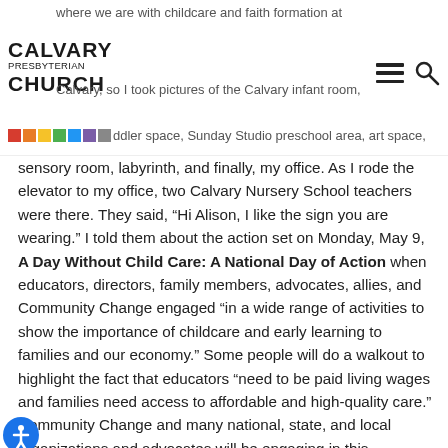where we are with childcare and faith formation at Calvary, so I took pictures of the Calvary infant room, toddler space, Sunday Studio preschool area, art space,
sensory room, labyrinth, and finally, my office. As I rode the elevator to my office, two Calvary Nursery School teachers were there. They said, “Hi Alison, I like the sign you are wearing.” I told them about the action set on Monday, May 9, A Day Without Child Care: A National Day of Action when educators, directors, family members, advocates, allies, and Community Change engaged “in a wide range of activities to show the importance of childcare and early learning to families and our economy.” Some people will do a walkout to highlight the fact that educators “need to be paid living wages and families need access to affordable and high-quality care.” Community Change and many national, state, and local organizations and advocates will be engaging in this